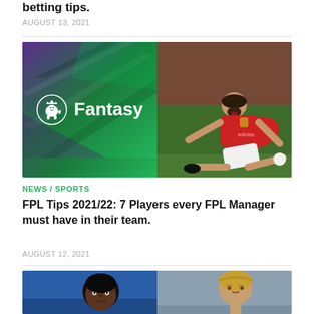betting tips.
AUGUST 13, 2021
[Figure (photo): FPL Fantasy Premier League logo on green/purple gradient background on the left; footballer in red Manchester United kit sliding on grass on the right]
NEWS / SPORTS
FPL Tips 2021/22: 7 Players every FPL Manager must have in their team.
AUGUST 12, 2021
[Figure (photo): Two footballer portraits side by side: left is a Black player with blue kit background, right is a player with blonde hair against grey background]